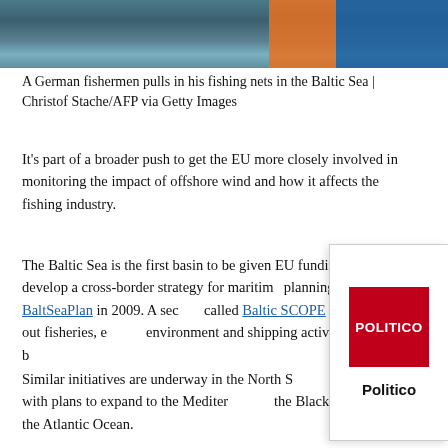[Figure (photo): Partial view of a fishing scene on the Baltic Sea with blue and orange buckets visible at the top edge]
A German fishermen pulls in his fishing nets in the Baltic Sea | Christof Stache/AFP via Getty Images
It's part of a broader push to get the EU more closely involved in monitoring the impact of offshore wind and how it affects the fishing industry.
The Baltic Sea is the first basin to be given EU funding to develop a cross-border strategy for maritime planning with the BaltSeaPlan in 2009. A second called Baltic SCOPE mapped out fisheries, environment and shipping activities in the b…
[Figure (logo): Politico logo card overlay — red square with white POLITICO text and bold Politico text below]
Similar initiatives are underway in the North S… Adriatic with plans to expand to the Mediter… the Black Sea and the Atlantic Ocean.